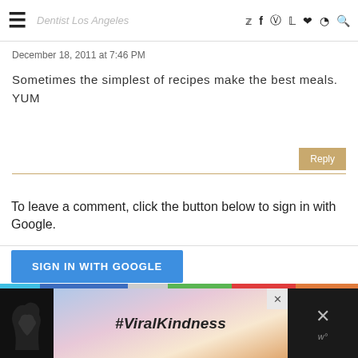Dentist Los Angeles
December 18, 2011 at 7:46 PM
Sometimes the simplest of recipes make the best meals. YUM
To leave a comment, click the button below to sign in with Google.
[Figure (screenshot): SIGN IN WITH GOOGLE button (blue)]
[Figure (infographic): Ad banner with #ViralKindness text and heart shape silhouette]